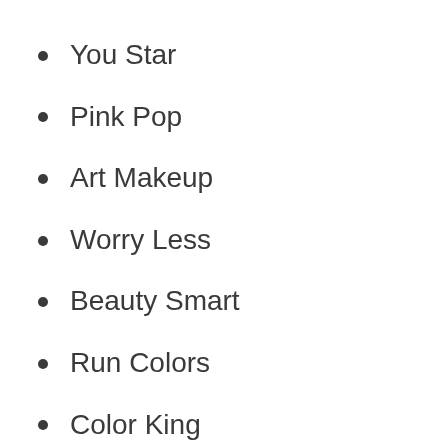You Star
Pink Pop
Art Makeup
Worry Less
Beauty Smart
Run Colors
Color King